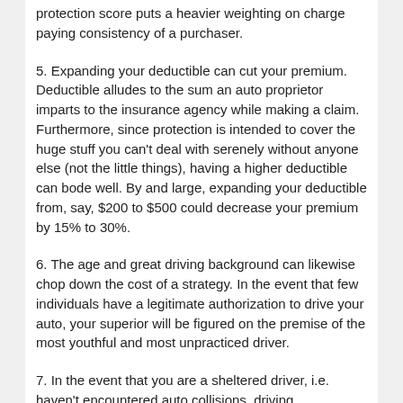protection score puts a heavier weighting on charge paying consistency of a purchaser.
5. Expanding your deductible can cut your premium. Deductible alludes to the sum an auto proprietor imparts to the insurance agency while making a claim. Furthermore, since protection is intended to cover the huge stuff you can't deal with serenely without anyone else (not the little things), having a higher deductible can bode well. By and large, expanding your deductible from, say, $200 to $500 could decrease your premium by 15% to 30%.
6. The age and great driving background can likewise chop down the cost of a strategy. In the event that few individuals have a legitimate authorization to drive your auto, your superior will be figured on the premise of the most youthful and most unpracticed driver.
7. In the event that you are a sheltered driver, i.e. haven't encountered auto collisions, driving infringement, plastered driving feelings, and so forth that